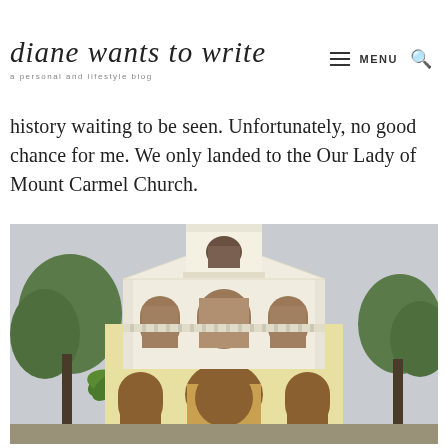diane wants to write — a personal and lifestyle blog | MENU
history waiting to be seen. Unfortunately, no good chance for me. We only landed to the Our Lady of Mount Carmel Church.
[Figure (photo): Exterior facade of Our Lady of Mount Carmel Church, a yellow and white colonial-style church with arched windows, a triangular pediment, bell tower, and palm trees on either side.]